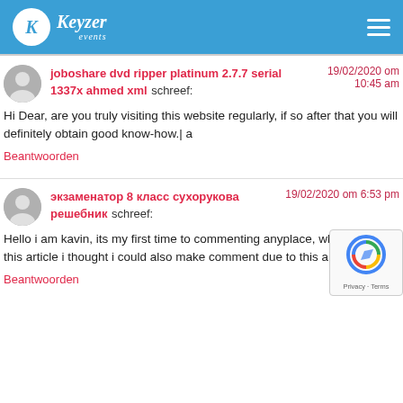Keyzer events
joboshare dvd ripper platinum 2.7.7 serial 1337x ahmed xml schreef: 19/02/2020 om 10:45 am
Hi Dear, are you truly visiting this website regularly, if so after that you will definitely obtain good know-how.| a
Beantwoorden
экзаменатор 8 класс сухорукова решебник schreef: 19/02/2020 om 6:53 pm
Hello i am kavin, its my first time to commenting anyplace, when i read this article i thought i could also make comment due to this a
Beantwoorden